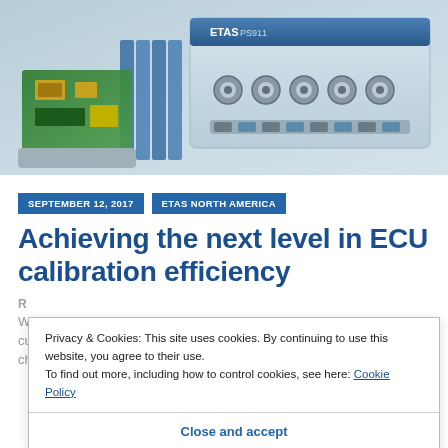[Figure (photo): Photo of ETAS hardware device (blue module with BNC connectors) and a green PCB component on a light blue/gray background]
SEPTEMBER 12, 2017
ETAS NORTH AMERICA
Achieving the next level in ECU calibration efficiency
Privacy & Cookies: This site uses cookies. By continuing to use this website, you agree to their use. To find out more, including how to control cookies, see here: Cookie Policy
Close and accept
With vehicle control functions becoming more complex, the current-equivalent ECU calibration to manage these...calibration projects will escalate to non-sustainable levels.